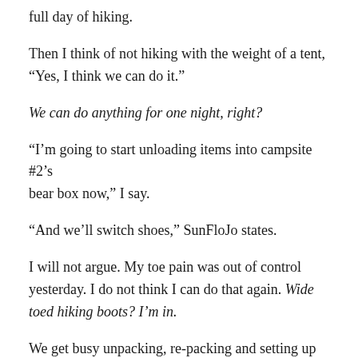full day of hiking.
Then I think of not hiking with the weight of a tent, “Yes, I think we can do it.”
We can do anything for one night, right?
“I’m going to start unloading items into campsite #2’s bear box now,” I say.
“And we’ll switch shoes,” SunFloJo states.
I will not argue. My toe pain was out of control yesterday. I do not think I can do that again. Wide toed hiking boots? I’m in.
We get busy unpacking, re-packing and setting up